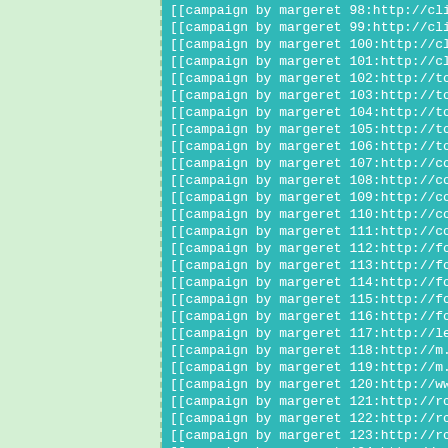[[campaign by margeret 98:http://clients1.goo
[[campaign by margeret 99:http://clients1.goo
[[campaign by margeret 100:http://clients1.goo
[[campaign by margeret 101:http://clients1.goo
[[campaign by margeret 102:http://toolbarque
[[campaign by margeret 103:http://toolbarque
[[campaign by margeret 104:http://toolbarque
[[campaign by margeret 105:http://toolbarque
[[campaign by margeret 106:http://toolbarque
[[campaign by margeret 107:http://colab.sandb
[[campaign by margeret 108:http://colab.sandb
[[campaign by margeret 109:http://colab.sandb
[[campaign by margeret 110:http://colab.sandb
[[campaign by margeret 111:http://colab.sandb
[[campaign by margeret 112:http://fonts.sandb
[[campaign by margeret 113:http://fonts.sandb
[[campaign by margeret 114:http://fonts.sandb
[[campaign by margeret 115:http://fonts.sandb
[[campaign by margeret 116:http://fonts.sandb
[[campaign by margeret 117:http://legal.un.or
[[campaign by margeret 118:http://m.odnoklass
[[campaign by margeret 119:http://m.ok.ru/dk?
[[campaign by margeret 120:http://www.usatoda
[[campaign by margeret 121:http://rcs-acs-pro
[[campaign by margeret 122:http://rcs-acs-pro
[[campaign by margeret 123:http://rcs-acs-pro
[[campaign by margeret 124:http://...